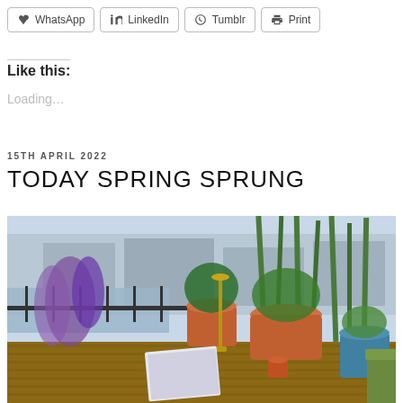WhatsApp
LinkedIn
Tumblr
Print
Like this:
Loading…
15TH APRIL 2022
TODAY SPRING SPRUNG
[Figure (photo): A balcony garden scene with potted plants including purple flowers, tall green reeds, and various other plants. A candlestick holder is visible along with a wooden deck floor. In the background there is a canal or waterway with buildings and cars visible.]